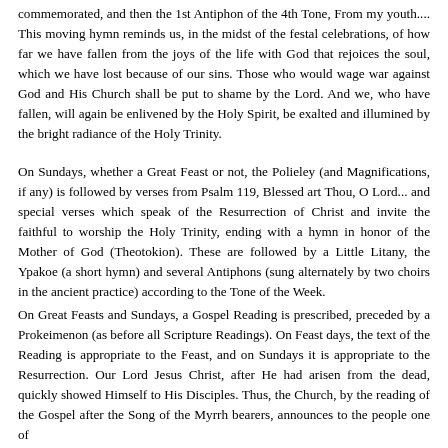commemorated, and then the 1st Antiphon of the 4th Tone, From my youth.... This moving hymn reminds us, in the midst of the festal celebrations, of how far we have fallen from the joys of the life with God that rejoices the soul, which we have lost because of our sins. Those who would wage war against God and His Church shall be put to shame by the Lord. And we, who have fallen, will again be enlivened by the Holy Spirit, be exalted and illumined by the bright radiance of the Holy Trinity.
On Sundays, whether a Great Feast or not, the Polieley (and Magnifications, if any) is followed by verses from Psalm 119, Blessed art Thou, O Lord... and special verses which speak of the Resurrection of Christ and invite the faithful to worship the Holy Trinity, ending with a hymn in honor of the Mother of God (Theotokion). These are followed by a Little Litany, the Ypakoe (a short hymn) and several Antiphons (sung alternately by two choirs in the ancient practice) according to the Tone of the Week.
On Great Feasts and Sundays, a Gospel Reading is prescribed, preceded by a Prokeimenon (as before all Scripture Readings). On Feast days, the text of the Reading is appropriate to the Feast, and on Sundays it is appropriate to the Resurrection. Our Lord Jesus Christ, after He had arisen from the dead, quickly showed Himself to His Disciples. Thus, the Church, by the reading of the Gospel after the Song of the Myrrh bearers, announces to the people one of